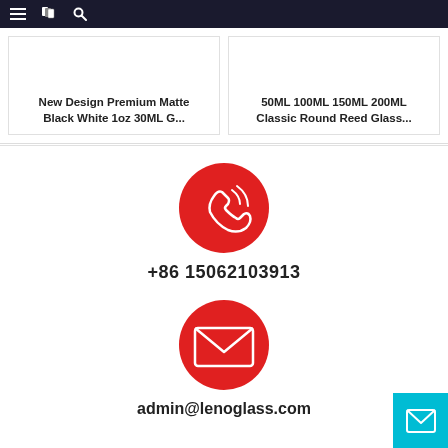Navigation bar with menu, catalog, and search icons
New Design Premium Matte Black White 1oz 30ML G...
50ML 100ML 150ML 200ML Classic Round Reed Glass...
[Figure (illustration): Red circle with white phone/call icon]
+86 15062103913
[Figure (illustration): Red circle with white envelope/email icon]
admin@lenoglass.com
[Figure (illustration): Cyan/teal floating button with white envelope icon at bottom right]